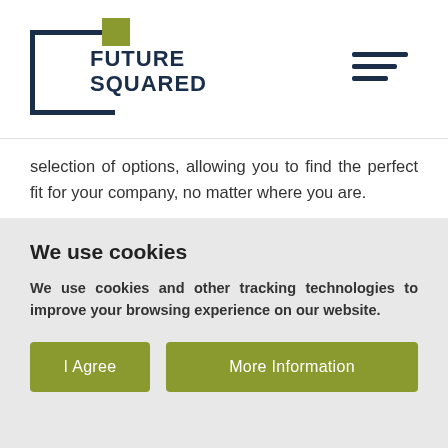[Figure (logo): Future Squared logo: dark navy square bracket/box outline with olive green square accent, text 'FUTURE SQUARED' in bold navy]
selection of options, allowing you to find the perfect fit for your company, no matter where you are.

We have years of experience in property
We use cookies
We use cookies and other tracking technologies to improve your browsing experience on our website.
I Agree | More Information